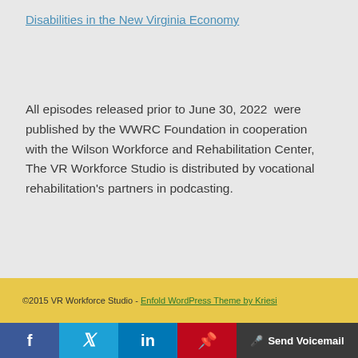Disabilities in the New Virginia Economy
All episodes released prior to June 30, 2022  were published by the WWRC Foundation in cooperation with the Wilson Workforce and Rehabilitation Center, The VR Workforce Studio is distributed by vocational rehabilitation's partners in podcasting.
©2015 VR Workforce Studio - Enfold WordPress Theme by Kriesi
f  Twitter  in  Pinterest  🎤 Send Voicemail